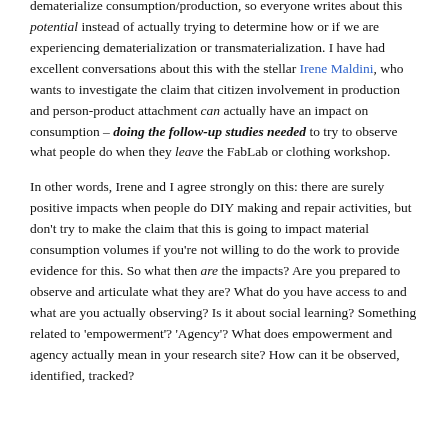dematerialize consumption/production, so everyone writes about this potential instead of actually trying to determine how or if we are experiencing dematerialization or transmaterialization. I have had excellent conversations about this with the stellar Irene Maldini, who wants to investigate the claim that citizen involvement in production and person-product attachment can actually have an impact on consumption – doing the follow-up studies needed to try to observe what people do when they leave the FabLab or clothing workshop.
In other words, Irene and I agree strongly on this: there are surely positive impacts when people do DIY making and repair activities, but don't try to make the claim that this is going to impact material consumption volumes if you're not willing to do the work to provide evidence for this. So what then are the impacts? Are you prepared to observe and articulate what they are? What do you have access to and what are you actually observing? Is it about social learning? Something related to 'empowerment'? 'Agency'? What does empowerment and agency actually mean in your research site? How can it be observed, identified, tracked?